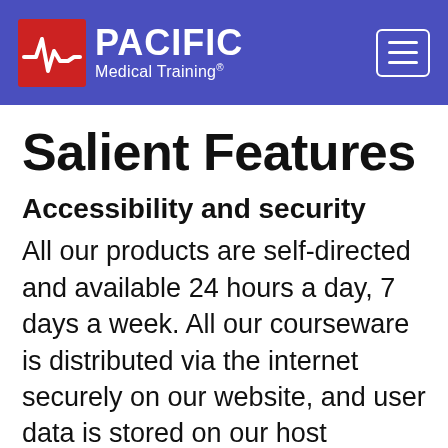PACIFIC Medical Training®
Salient Features
Accessibility and security
All our products are self-directed and available 24 hours a day, 7 days a week. All our courseware is distributed via the internet securely on our website, and user data is stored on our host servers.
And we use best practices in web